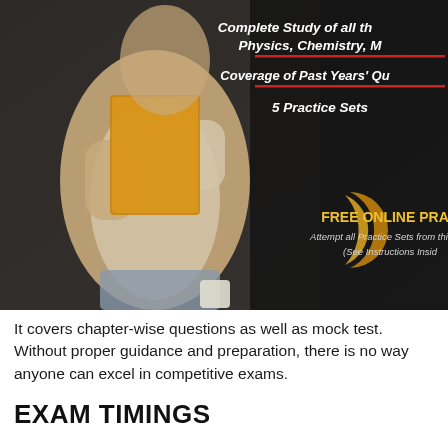[Figure (illustration): Book cover showing a student sitting and holding a book, dark background with gold and white text: 'Complete Study of all th... Physics, Chemistry, M...', 'Coverage of Past Years' Qu...', '5 Practice Sets:', and 'FREE ONLINE PRA... Attempt all Practice Sets from this bo... (See Instructions Insid...']
It covers chapter-wise questions as well as mock test. Without proper guidance and preparation, there is no way anyone can excel in competitive exams.
EXAM TIMINGS